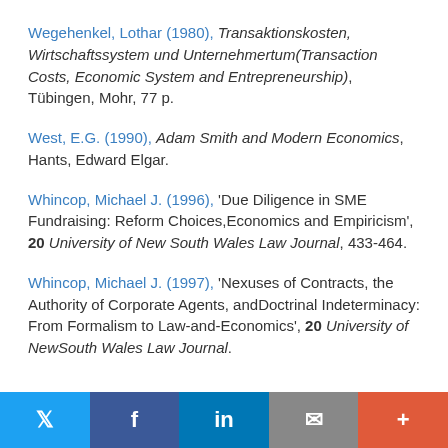Wegehenkel, Lothar (1980), Transaktionskosten, Wirtschaftssystem und Unternehmertum(Transaction Costs, Economic System and Entrepreneurship), Tübingen, Mohr, 77 p.
West, E.G. (1990), Adam Smith and Modern Economics, Hants, Edward Elgar.
Whincop, Michael J. (1996), 'Due Diligence in SME Fundraising: Reform Choices,Economics and Empiricism', 20 University of New South Wales Law Journal, 433-464.
Whincop, Michael J. (1997), 'Nexuses of Contracts, the Authority of Corporate Agents, andDoctrinal Indeterminacy: From Formalism to Law-and-Economics', 20 University of NewSouth Wales Law Journal.
Twitter | Facebook | LinkedIn | Email | +